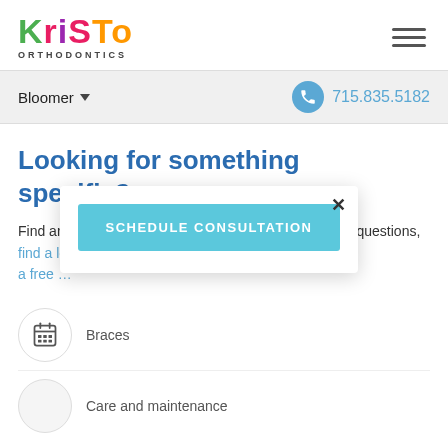[Figure (logo): Kristo Orthodontics colorful logo with hamburger menu icon]
Bloomer ▾   715.835.5182
Looking for something specific?
Find articles on a variety of topics. If you have specific questions, find a location to contact … for a free …
[Figure (screenshot): Popup modal with close X button and SCHEDULE CONSULTATION button in teal]
Braces
Care and maintenance